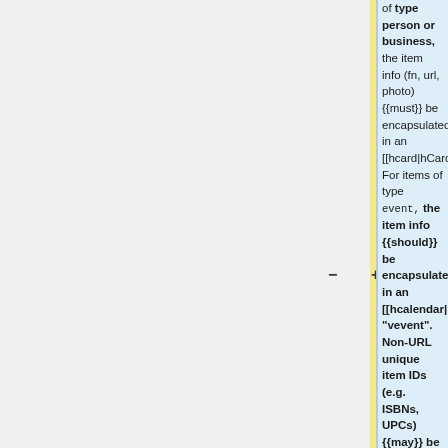of type person or business, the item info (fn, url, photo) {{must}} be encapsulated in an [[hcard|hCard]].  For items of type event, the item info {{should}} be encapsulated in an [[hcalendar|hCalendar]] "vevent".  Non-URL unique item IDs (e.g. ISBNs, UPCs) {{may}} be represented as a URN ("url")